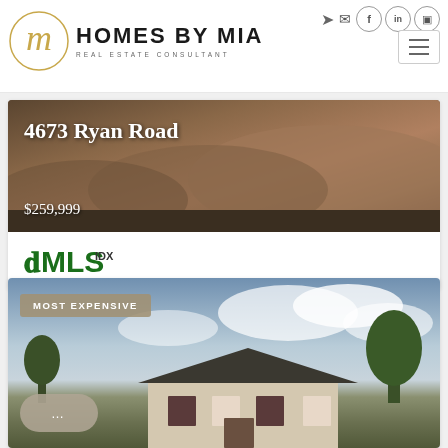[Figure (logo): Homes by Mia Real Estate Consultant logo with stylized M in circle]
HOMES BY MIA
REAL ESTATE CONSULTANT
[Figure (photo): Property listing photo showing dirt/gravel mounds for 4673 Ryan Road priced at $259,999 with FMLS IDX logo]
4673 Ryan Road
$259,999
[Figure (logo): FMLS IDX logo in green]
[Figure (photo): Most Expensive property listing photo showing a ranch house with brick exterior against cloudy sky]